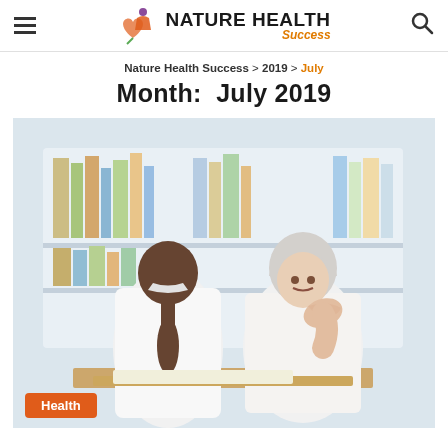Nature Health Success
Nature Health Success > 2019 > July
Month: July 2019
[Figure (photo): A doctor (seen from behind, with dark ponytail hair, wearing white coat) consulting with an older female patient who is holding her neck in pain. Background shows blurred bookshelves.]
Health